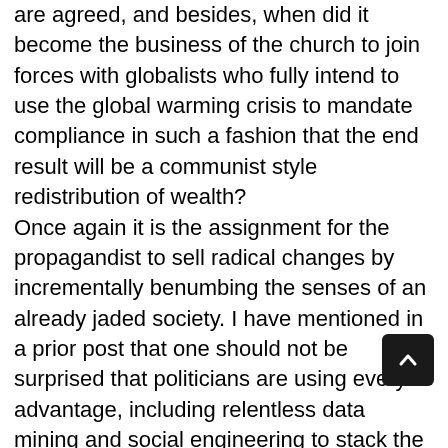are agreed, and besides, when did it become the business of the church to join forces with globalists who fully intend to use the global warming crisis to mandate compliance in such a fashion that the end result will be a communist style redistribution of wealth? Once again it is the assignment for the propagandist to sell radical changes by incrementally benumbing the senses of an already jaded society. I have mentioned in a prior post that one should not be surprised that politicians are using every advantage, including relentless data mining and social engineering to stack the deck in favor of their agendae. What is troubling to me is that the church is doing much the same thing, as pastor after pastor changes his or her stance on issues of morality; parroting progressive nostrums such as “I have evolved…” or “I have pivoted…” or “After much prayer I came to realize” such and … Call me a conspiracy nut if you like, but that unsettling